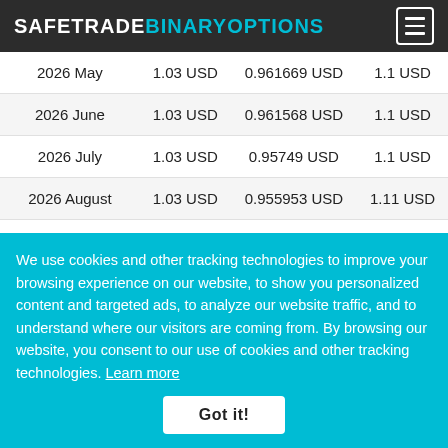SAFETRADEBINARYOPTIONS
| 2026 May | 1.03 USD | 0.961669 USD | 1.1 USD |
| 2026 June | 1.03 USD | 0.961568 USD | 1.1 USD |
| 2026 July | 1.03 USD | 0.95749 USD | 1.1 USD |
| 2026 August | 1.03 USD | 0.955953 USD | 1.11 USD |
| 2026 September | 1.03 USD | 0.955341 USD | 1.11 USD |
| 2026 October | 1.03 USD | 0.94873 USD | 1.11 USD |
We use cookies and other tracking technologies to improve your browsing experience on our website, to show you personalized content and targeted ads, to analyze our website traffic, and to understand where our visitors are coming from. By browsing our website, you consent to our use of cookies and other tracking technologies. Learn more